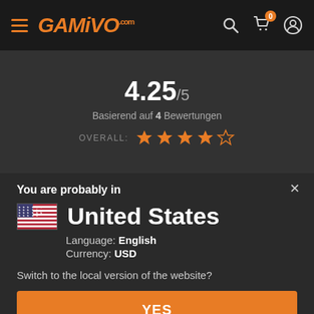GAMIVO.com
4.25/5
Basierend auf 4 Bewertungen
OVERALL: ★★★★☆
×
You are probably in
United States
Language: English
Currency: USD
Switch to the local version of the website?
YES